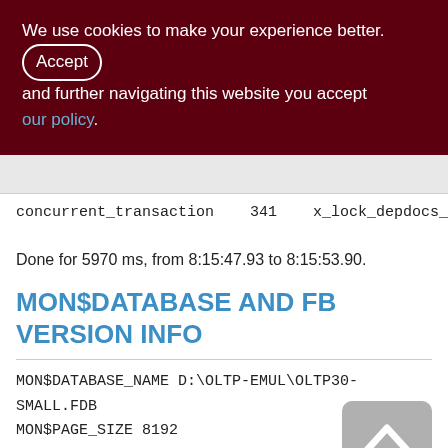We use cookies to make your experience better. By accepting and further navigating this website you accept our policy.
concurrent_transaction    341    x_lock_depdocs_on_canc_s
Done for 5970 ms, from 8:15:47.93 to 8:15:53.90.
MON$DATABASE AND FB VERSION INFO
MON$DATABASE_NAME D:\OLTP-EMUL\OLTP30-SMALL.FDB
MON$PAGE_SIZE 8192
MON$ODS_MAJOR 12